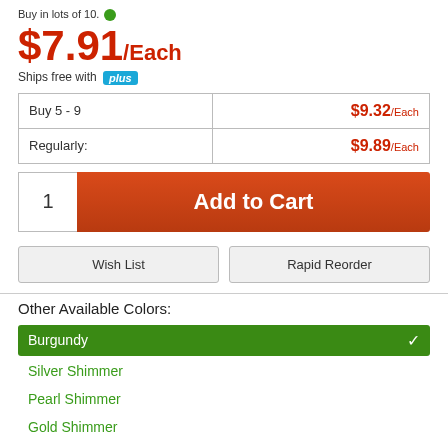Buy in lots of 10. [green dot]
$7.91/Each
Ships free with plus
|  |  |
| --- | --- |
| Buy 5 - 9 | $9.32/Each |
| Regularly: | $9.89/Each |
1  Add to Cart
Wish List
Rapid Reorder
Other Available Colors:
Burgundy (selected)
Silver Shimmer
Pearl Shimmer
Gold Shimmer